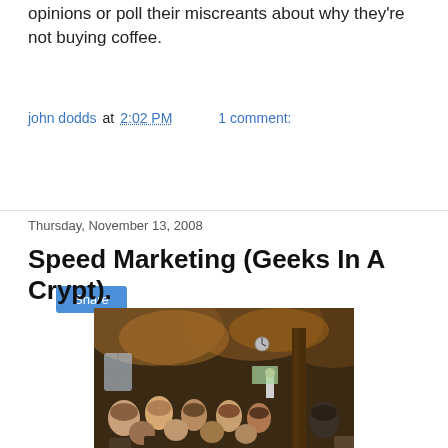opinions or poll their miscreants about why they're not buying coffee.
john dodds at 2:02 PM    1 comment:
Share
Thursday, November 13, 2008
Speed Marketing (Geeks In A Crypt).
[Figure (photo): Audience of people seated in a room with brick vaulted ceiling, warm lighting, watching a presenter at the front. A wooden post is visible on the right side. The room has an atmospheric, cellar or crypt-like appearance.]